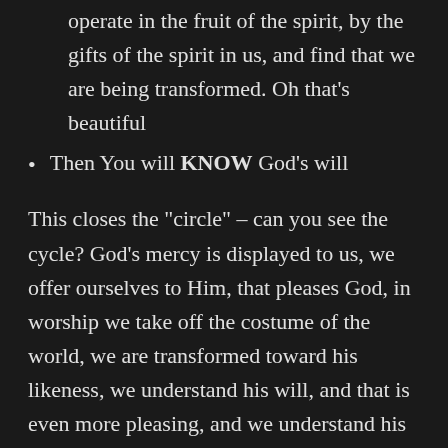operate in the fruit of the spirit, by the gifts of the spirit in us, and find that we are being transformed. Oh that’s beautiful
Then You will KNOW God’s will
This closes the “circle” – can you see the cycle? God’s mercy is displayed to us, we offer ourselves to Him, that pleases God, in worship we take off the costume of the world, we are transformed toward his likeness, we understand his will, and that is even more pleasing, and we understand his mercy more, and we offer more of ourselves, and he is